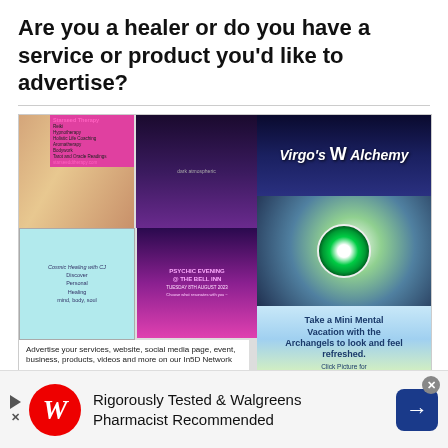Are you a healer or do you have a service or product you'd like to advertise?
[Figure (other): Collage of healing/spiritual service advertisements including Starseed Therapy, Virgo's Alchemy, Psychic Evening at The Bell Inn, and Archangelology.com. Includes text: Advertise your services, website, social media page, event, business, products, videos and more on our In5D Network for as little as $1 a day! VISIT in5d.us FOR MORE INFO In5D Vendor Marketplace]
Cosmic Healing with CJ
[Figure (other): Walgreens advertisement banner: Rigorously Tested & Walgreens Pharmacist Recommended]